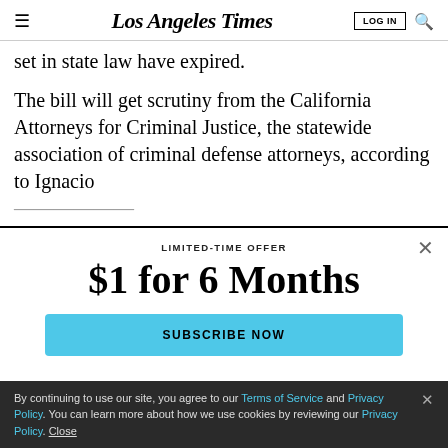Los Angeles Times | LOG IN | [search]
set in state law have expired.
The bill will get scrutiny from the California Attorneys for Criminal Justice, the statewide association of criminal defense attorneys, according to Ignacio
LIMITED-TIME OFFER
$1 for 6 Months
SUBSCRIBE NOW
By continuing to use our site, you agree to our Terms of Service and Privacy Policy. You can learn more about how we use cookies by reviewing our Privacy Policy. Close